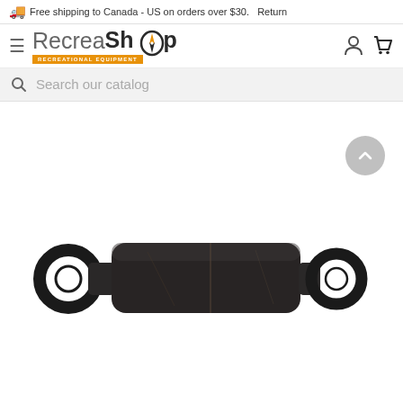🚚 Free shipping to Canada - US on orders over $30.   Return
[Figure (logo): RecreaShop logo with orange compass icon and orange 'RECREATIONAL EQUIPMENT' subtitle bar]
Search our catalog
[Figure (photo): A black cylindrical shock absorber or damper component with eye-ring attachments on both ends, photographed on white background]